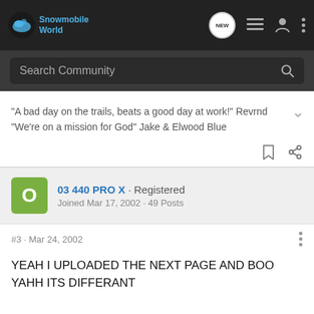Snowmobile World
Search Community
"A bad day on the trails, beats a good day at work!" Revrnd
"We're on a mission for God" Jake & Elwood Blue
03 440 PRO X · Registered
Joined Mar 17, 2002 · 49 Posts
#3 · Mar 24, 2002
YEAH I UPLOADED THE NEXT PAGE AND BOO YAHH ITS DIFFERANT